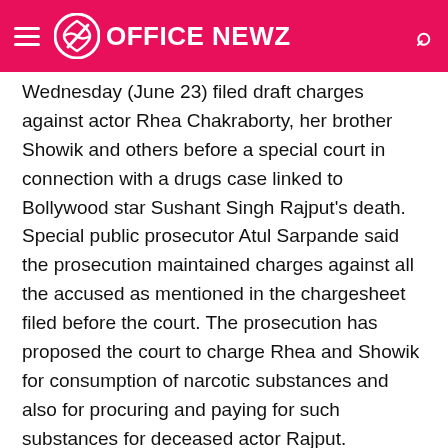OFFICE NEWZ
Wednesday (June 23) filed draft charges against actor Rhea Chakraborty, her brother Showik and others before a special court in connection with a drugs case linked to Bollywood star Sushant Singh Rajput's death. Special public prosecutor Atul Sarpande said the prosecution maintained charges against all the accused as mentioned in the charge-sheet filed before the court. The prosecution has proposed the court to charge Rhea and Showik for consumption of narcotic substances and also for procuring and paying for such substances for deceased actor Rajput.
Sarpande said the court was scheduled to frame charges against all the accused. However, it couldn't be done as a few of the accused moved discharge applications. The court has said that the charges would be framed only after the discharge pleas are decided, he said. All the accused, including Rhea and Showing, were present before the court